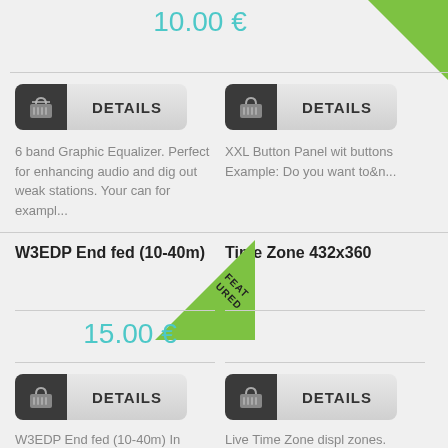10.00 €
[Figure (infographic): Green triangle badge in top-right corner of first product card]
[Figure (infographic): Cart button (dark) + DETAILS button (grey) for first left product]
6 band Graphic Equalizer. Perfect for enhancing audio and dig out weak stations. Your can for exampl...
[Figure (infographic): Cart button (dark) + DETAILS button (grey) for first right product]
XXL Button Panel wit buttons  Example: Do you want to&n...
W3EDP End fed (10-40m)
[Figure (infographic): FEATURED diagonal green ribbon badge]
Time Zone 432x360
15.00 €
[Figure (infographic): Cart button (dark) + DETAILS button (grey) for W3EDP product]
W3EDP End fed (10-40m) In 1936, Yardley Beers, W3AWH, described an empirically-derived antenna &q...
[Figure (infographic): Cart button (dark) + DETAILS button (grey) for Time Zone product]
Live Time Zone displ zones. Invaluable plu DXer....